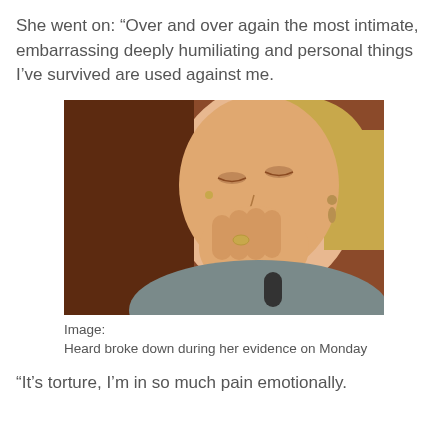She went on: “Over and over again the most intimate, embarrassing deeply humiliating and personal things I’ve survived are used against me.
[Figure (photo): A woman with blonde hair pulled back, eyes closed, hand covering her mouth in an emotional or distressed pose, wearing a gray top and dangling earrings, appearing to cry or sob at what appears to be a courtroom or official setting.]
Image:
Heard broke down during her evidence on Monday
“It’s torture, I’m in so much pain emotionally.